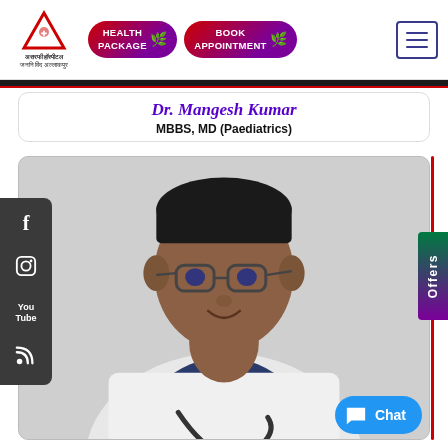[Figure (logo): Asarfi Hospital logo with red triangle and Hindi text]
HEALTH PACKAGE
BOOK APPOINTMENT
Dr. Mangesh Kumar
MBBS, MD (Paediatrics)
[Figure (photo): Portrait photo of Dr. Mangesh Kumar wearing glasses and white coat with stethoscope]
Offers
Chat